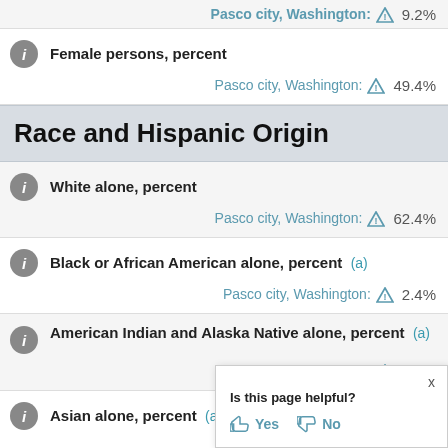Pasco city, Washington: ⚠ 9.2%
Female persons, percent
Pasco city, Washington: ⚠ 49.4%
Race and Hispanic Origin
White alone, percent
Pasco city, Washington: ⚠ 62.4%
Black or African American alone, percent (a)
Pasco city, Washington: ⚠ 2.4%
American Indian and Alaska Native alone, percent (a)
Pasco city, Washington: ⚠ 1.4%
Asian alone, percent (a)
Pasco city, W...
Is this page helpful? Yes No